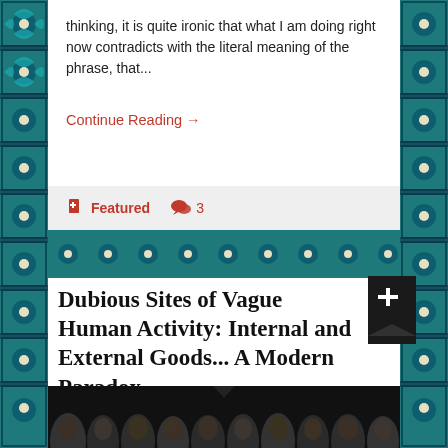thinking, it is quite ironic that what I am doing right now contradicts with the literal meaning of the phrase, that...
Continue Reading →
📌 Featured  💬 3
[Figure (illustration): Decorative tiled Islamic/Persian tile pattern border in teal and navy blue with white floral motifs surrounding white content cards]
Dubious Sites of Vague Human Activity: Internal and External Goods... A Modern Paradox
[Figure (photo): A crowd of people in dark tones, partially visible at the bottom of the page]